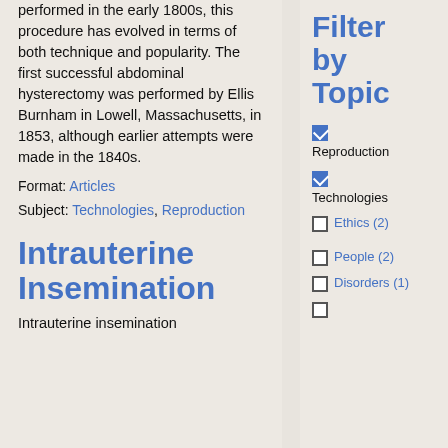performed in the early 1800s, this procedure has evolved in terms of both technique and popularity. The first successful abdominal hysterectomy was performed by Ellis Burnham in Lowell, Massachusetts, in 1853, although earlier attempts were made in the 1840s.
Format: Articles
Subject: Technologies, Reproduction
Intrauterine Insemination
Intrauterine insemination
Filter by Topic
Reproduction (checked)
Technologies (checked)
Ethics (2)
People (2)
Disorders (1)